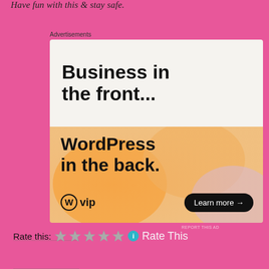Have fun with this & stay safe.
Advertisements
[Figure (screenshot): WordPress VIP advertisement: 'Business in the front... WordPress in the back.' with a Learn more button and WordPress VIP logo, on a warm gradient background.]
REPORT THIS AD
Rate this: ★★★★★ ℹ Rate This